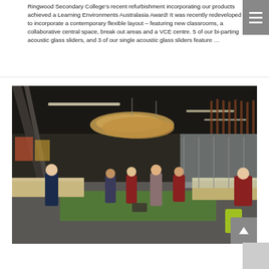Ringwood Secondary College's recent refurbishment incorporating our products achieved a Learning Environments Australasia Award! It was recently redeveloped to incorporate a contemporary flexible layout – featuring new classrooms, a collaborative central space, break out areas and a VCE centre. 5 of our bi-parting acoustic glass sliders, and 3 of our single acoustic glass sliders feature …
[Figure (photo): Interior photo of a modern open-plan school space showing students engaged in various activities. The space features a dark ceiling with modern pendant lighting fixtures, green artificial turf flooring in areas, a kitchen/bench area on the left with a student working, and glass partitions opening to outdoor areas. Several students in school uniforms are visible throughout the space.]
Queen of Peace Primary School